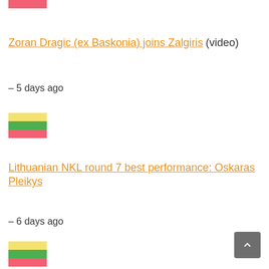[Figure (illustration): Partial Lithuanian flag (red stripe visible at top, cropped)]
Zoran Dragic (ex Baskonia) joins Zalgiris (video)
– 5 days ago
[Figure (illustration): Lithuanian flag with yellow, green and red horizontal stripes]
Lithuanian NKL round 7 best performance: Oskaras Pleikys
– 6 days ago
[Figure (illustration): Lithuanian flag with yellow, green and red horizontal stripes (partial, bottom of page)]